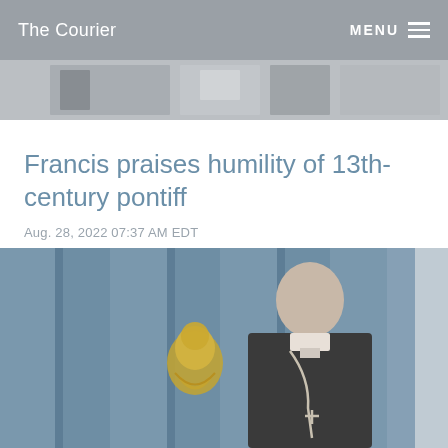The Courier
[Figure (photo): Top strip showing partial images of people at what appears to be a news event]
Francis praises humility of 13th-century pontiff
Aug. 28, 2022 07:37 AM EDT
[Figure (photo): A Catholic bishop or cardinal in black vestments with a cross/pectoral chain, standing in front of a blue curtain backdrop with a gold Vatican emblem visible to his left]